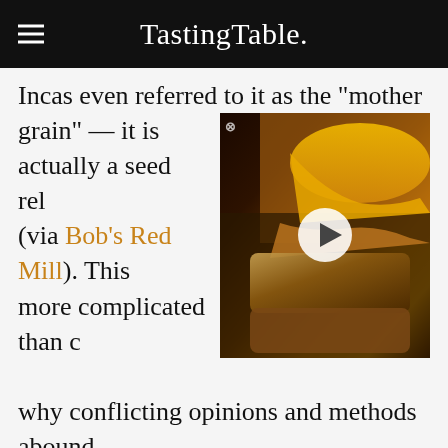TastingTable.
Incas even referred to it as the "mother grain" — it is actually a seed related to spinach (via Bob's Red Mill). This makes quinoa more complicated than cooking rice, which is why conflicting opinions and methods abound. From the right amount of water, to whether to steam it like rice, boil it like pasta, or cook it in the Instant Pot, there are many theories as to what makes for the perfectly cooked quinoa (via HuffPost). But one thing is for certain: This superfood can quickly become super mush if it is overcooked and under-seasoned. Luckily, there is an easy trick to get the best texture
[Figure (photo): Video thumbnail showing a grilled cheese sandwich with melted cheese, with a play button overlay]